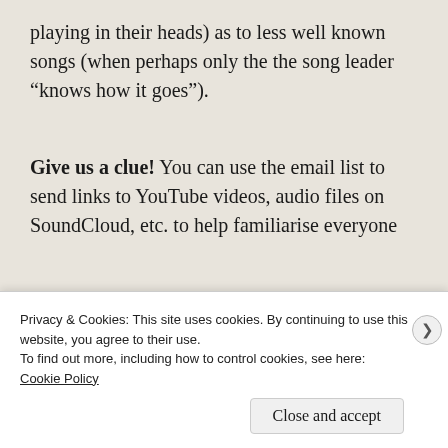playing in their heads) as to less well known songs (when perhaps only the the song leader “knows how it goes”).
Give us a clue! You can use the email list to send links to YouTube videos, audio files on SoundCloud, etc. to help familiarise everyone
Privacy & Cookies: This site uses cookies. By continuing to use this website, you agree to their use.
To find out more, including how to control cookies, see here: Cookie Policy
Close and accept